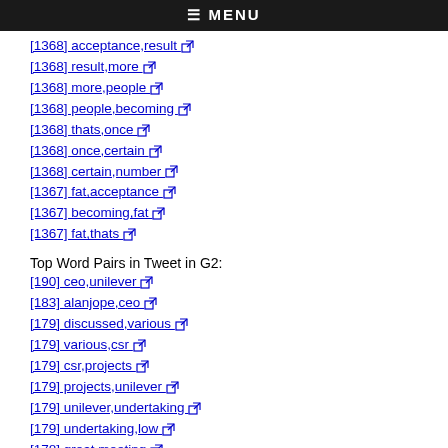≡ MENU
[1368] acceptance,result
[1368] result,more
[1368] more,people
[1368] people,becoming
[1368] thats,once
[1368] once,certain
[1368] certain,number
[1367] fat,acceptance
[1367] becoming,fat
[1367] fat,thats
Top Word Pairs in Tweet in G2:
[190] ceo,unilever
[183] alanjope,ceo
[179] discussed,various
[179] various,csr
[179] csr,projects
[179] projects,unilever
[179] unilever,undertaking
[179] undertaking,low
[178] great,meeting
[178] meeting,alanjope
Top Word Pairs in Tweet in G3:
[43] hindustan,unilever